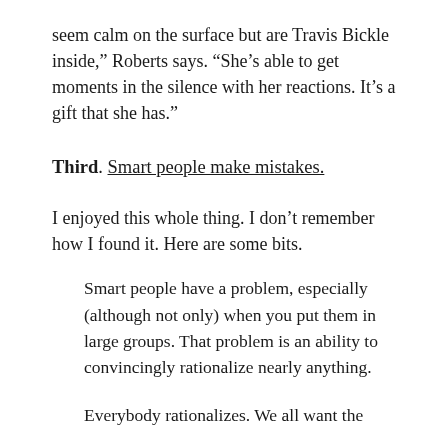seem calm on the surface but are Travis Bickle inside,” Roberts says. “She’s able to get moments in the silence with her reactions. It’s a gift that she has.”
Third. Smart people make mistakes.
I enjoyed this whole thing. I don’t remember how I found it. Here are some bits.
Smart people have a problem, especially (although not only) when you put them in large groups. That problem is an ability to convincingly rationalize nearly anything.
Everybody rationalizes. We all want the